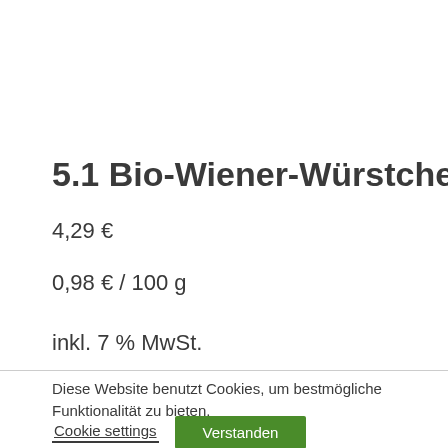5.1 Bio-Wiener-Würstchen
4,29 €
0,98 € / 100 g
inkl. 7 % MwSt.
Diese Website benutzt Cookies, um bestmögliche Funktionalität zu bieten.
Cookie settings   Verstanden